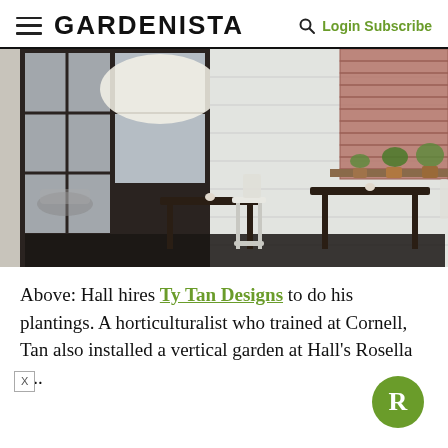GARDENISTA  Login Subscribe
[Figure (photo): Interior of a cafe or restaurant with dark wood tables, white chairs, a large dark-framed window and glass door, a white shiplap wall, and a brick wall shelf with potted plants above.]
Above: Hall hires Ty Tan Designs to do his plantings. A horticulturalist who trained at Cornell, Tan also installed a vertical garden at Hall's Rosella ...